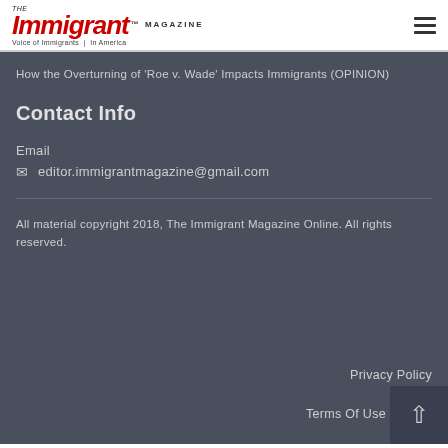The Immigrant MAGAZINE — Voice of Immigrants in America
How the Overturning of 'Roe v. Wade' Impacts Immigrants (OPINION)
Contact Info
Email
editor.immigrantmagazine@gmail.com
All material copyright 2018, The Immigrant Magazine Online. All rights reserved.
Privacy Policy
Terms Of Use